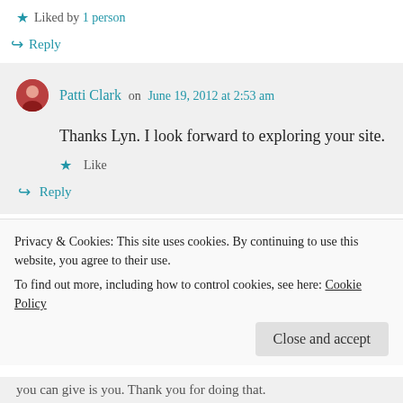★ Liked by 1 person
↪ Reply
Patti Clark on June 19, 2012 at 2:53 am
Thanks Lyn. I look forward to exploring your site.
★ Like
↪ Reply
Privacy & Cookies: This site uses cookies. By continuing to use this website, you agree to their use.
To find out more, including how to control cookies, see here: Cookie Policy
Close and accept
you can give is you. Thank you for doing that.